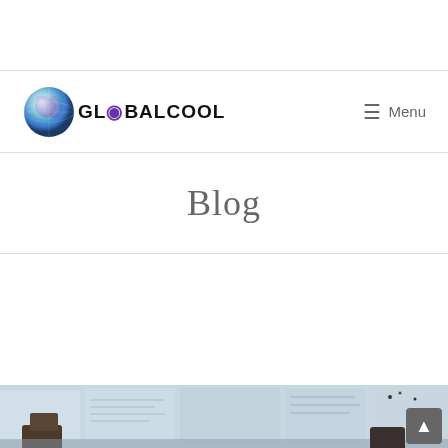[Figure (logo): GlobalCool logo with globe graphic and text GLOBALCOOL in black and purple]
Menu
Blog
[Figure (photo): Office scene with chairs, desks, and papers, partially visible at bottom of page]